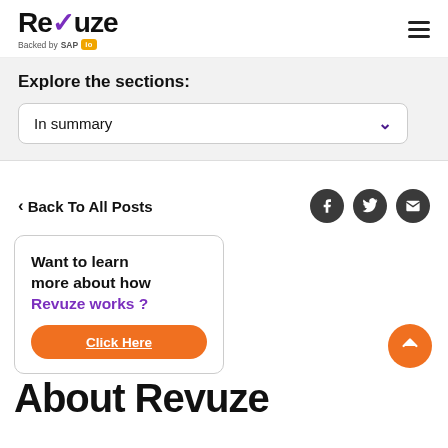Revuze — Backed by SAP io
Explore the sections:
In summary
< Back To All Posts
Want to learn more about how Revuze works ?
Click Here
About Revuze